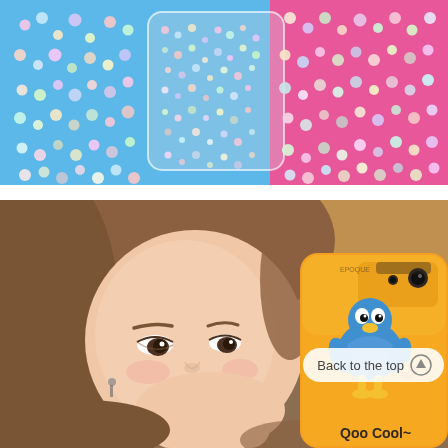[Figure (photo): Top photo showing colorful pastel pearl beads scattered on a blue and pink background, with a transparent phone case filled with tiny iridescent beads in the center.]
[Figure (photo): Bottom photo showing a young Asian woman taking a selfie, holding an orange phone case with a cartoon character (Qoo) and text 'Qoo Cool~'. A 'Back to the top' button overlay is visible in the bottom right.]